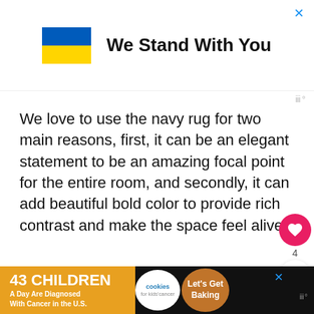[Figure (other): Advertisement banner with Ukrainian flag and text 'We Stand With You']
We love to use the navy rug for two main reasons, first, it can be an elegant statement to be an amazing focal point for the entire room, and secondly, it can add beautiful bold color to provide rich contrast and make the space feel alive.
However, any plain navy rug seems not to work
[Figure (other): Bottom advertisement banner: '43 CHILDREN A Day Are Diagnosed With Cancer in the U.S.' with cookies for kids cancer logo and Let's Get Baking button]